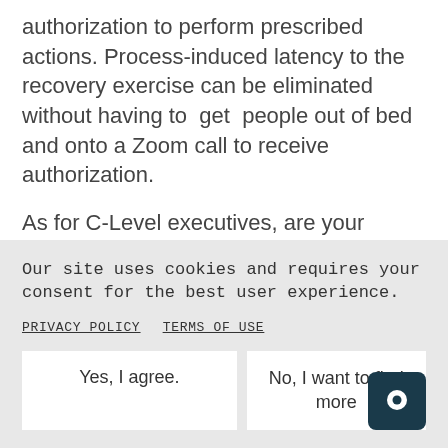authorization to perform prescribed actions. Process-induced latency to the recovery exercise can be eliminated without having to get people out of bed and onto a Zoom call to receive authorization.
As for C-Level executives, are your business leaders in sync? How many different business units and partners need to be involved in an incident response plan? Are you concerned about
Our site uses cookies and requires your consent for the best user experience.
PRIVACY POLICY   TERMS OF USE
Yes, I agree.
No, I want to find more